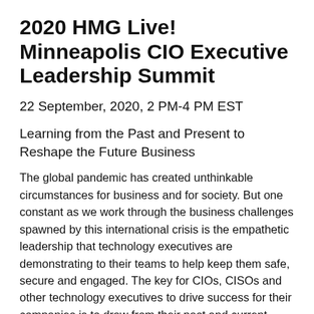2020 HMG Live! Minneapolis CIO Executive Leadership Summit
22 September, 2020, 2 PM-4 PM EST
Learning from the Past and Present to Reshape the Future Business
The global pandemic has created unthinkable circumstances for business and for society. But one constant as we work through the business challenges spawned by this international crisis is the empathetic leadership that technology executives are demonstrating to their teams to help keep them safe, secure and engaged. The key for CIOs, CISOs and other technology executives to drive success for their companies is to draw from their past and current experiences in the current crisis and to apply a fresh mindset in leading the business forward into a brighter future with courage and